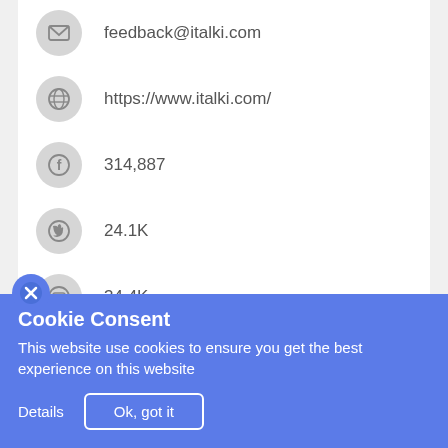feedback@italki.com
https://www.italki.com/
314,887
24.1K
34.4K
italki Friends And Family
26 italki Coupon Codes & Deals
[Figure (other): Gray placeholder bar for coupon/deals content]
Cookie Consent
This website use cookies to ensure you get the best experience on this website
Details  Ok, got it